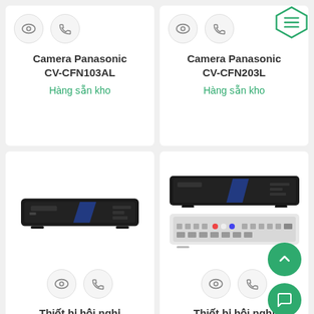[Figure (screenshot): Product card: Camera Panasonic CV-CFN103AL with eye and phone icons and in-stock label]
Camera Panasonic CV-CFN103AL
Hàng sẵn kho
[Figure (screenshot): Product card: Camera Panasonic CV-CFN203L with eye, phone, and menu icons and in-stock label]
Camera Panasonic CV-CFN203L
Hàng sẵn kho
[Figure (photo): Panasonic conference device front view, black rectangular device]
Thiết bị hội nghị
[Figure (photo): Panasonic conference device front and rear view, black rectangular devices stacked]
Thiết bị hội nghị